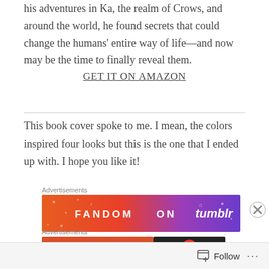his adventures in Ka, the realm of Crows, and around the world, he found secrets that could change the humans' entire way of life—and now may be the time to finally reveal them.
GET IT ON AMAZON
This book cover spoke to me. I mean, the colors inspired four looks but this is the one that I ended up with. I hope you like it!
[Figure (screenshot): Tumblr advertisement banner with orange to purple gradient and text FANDOM ON tumblr]
[Figure (screenshot): Advertisement banner with red background and text Search, browse, and email]
Follow ...